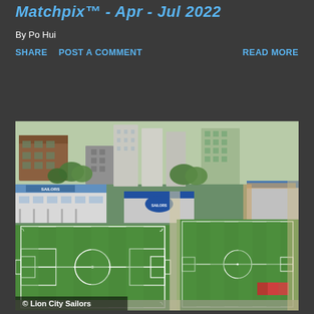Matchpix™ - Apr - Jul 2022
By Po Hui
SHARE   POST A COMMENT   READ MORE
[Figure (photo): Aerial view of Lion City Sailors football facility showing two green pitches with white markings, club buildings, and surrounding urban construction in Singapore. Copyright Lion City Sailors watermark visible at bottom left.]
© Lion City Sailors